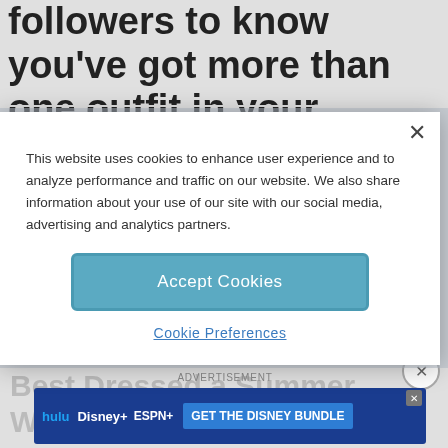followers to know you've got more than one outfit in your arsenal. We've got you
[Figure (screenshot): Cookie consent modal overlay with Accept Cookies button and Cookie Preferences link]
[Figure (illustration): Social media share icons row: black circle, Twitter (blue bird), Facebook (dark blue), Pinterest (red)]
Best Dressed a Summer We
ADVERTISEMENT
[Figure (screenshot): Disney Bundle advertisement banner showing Hulu, Disney+, ESPN+ logos with 'GET THE DISNEY BUNDLE' call to action]